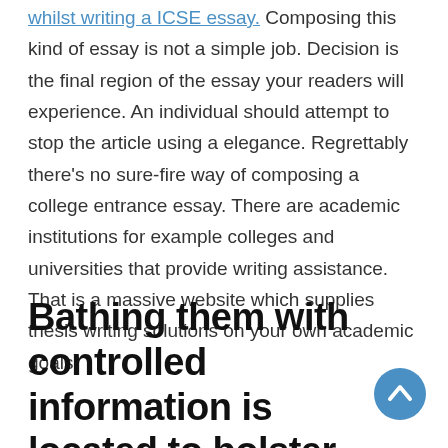whilst writing a ICSE essay. Composing this kind of essay is not a simple job. Decision is the final region of the essay your readers will experience. An individual should attempt to stop the article using a elegance. Regrettably there's no sure-fire way of composing a college entrance essay. There are academic institutions for example colleges and universities that provide writing assistance. That is a massive website which supplies thesis writing solutions on your own academic goals.
Bathing them with controlled information is located to bolster their